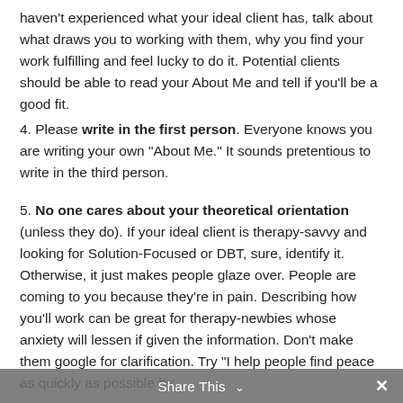haven't experienced what your ideal client has, talk about what draws you to working with them, why you find your work fulfilling and feel lucky to do it. Potential clients should be able to read your About Me and tell if you'll be a good fit.
4. Please write in the first person. Everyone knows you are writing your own "About Me." It sounds pretentious to write in the third person.
5. No one cares about your theoretical orientation (unless they do). If your ideal client is therapy-savvy and looking for Solution-Focused or DBT, sure, identify it. Otherwise, it just makes people glaze over. People are coming to you because they're in pain. Describing how you'll work can be great for therapy-newbies whose anxiety will lessen if given the information. Don't make them google for clarification. Try "I help people find peace as quickly as possible by
Share This ∨  ✕